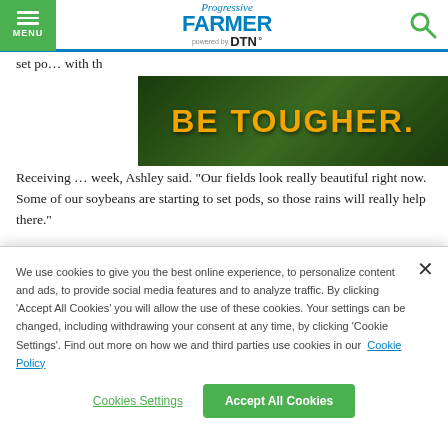Progressive FARMER powered by DTN
set po... with the...
[Figure (photo): Advertisement banner with dark green leafy background and bold yellow text reading 'BE TOUGHER.']
Receiving ... week, Ashley said. "Our fields look really beautiful right now. Some of our soybeans are starting to set pods, so those rains will really help there."
The Andersen soybeans required two insecticide treatments to control thistle caterpillar this year. Aerial applications of
We use cookies to give you the best online experience, to personalize content and ads, to provide social media features and to analyze traffic. By clicking 'Accept All Cookies' you will allow the use of these cookies. Your settings can be changed, including withdrawing your consent at any time, by clicking 'Cookie Settings'. Find out more on how we and third parties use cookies in our Cookie Policy
Cookies Settings
Accept All Cookies